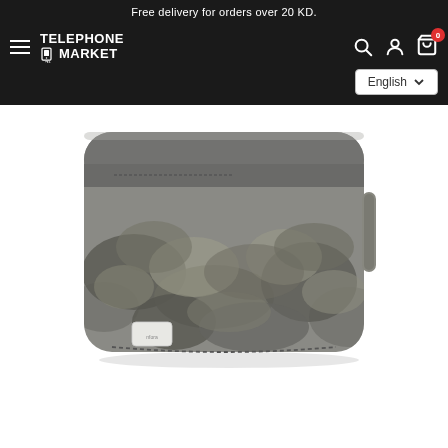Free delivery for orders over 20 KD.
[Figure (logo): Telephone Market logo with hamburger menu, search, account, and cart icons, plus English language selector]
[Figure (photo): Grey camouflage pattern rectangular bag/pouch with a small top pocket and a small brand label on the lower left, zipper running along the perimeter, shown against white background]